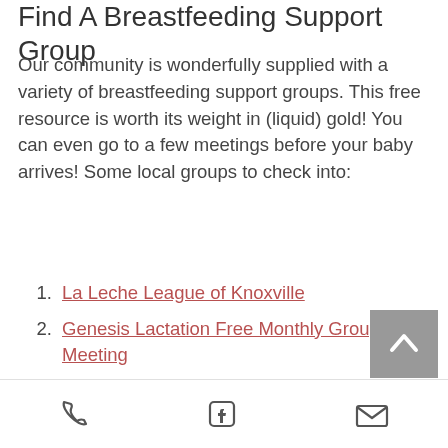Find A Breastfeeding Support Group
Our community is wonderfully supplied with a variety of breastfeeding support groups. This free resource is worth its weight in (liquid) gold! You can even go to a few meetings before your baby arrives! Some local groups to check into:
La Leche League of Knoxville
Genesis Lactation Free Monthly Group Meeting
The Breastaurant Local Online Group
Get A Great Book
Phone | Facebook | Email